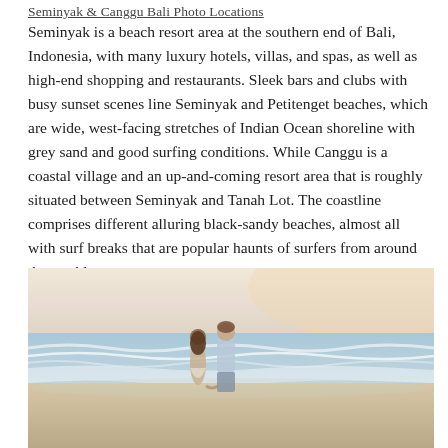Seminyak & Canggu Bali Photo Locations
Seminyak is a beach resort area at the southern end of Bali, Indonesia, with many luxury hotels, villas, and spas, as well as high-end shopping and restaurants. Sleek bars and clubs with busy sunset scenes line Seminyak and Petitenget beaches, which are wide, west-facing stretches of Indian Ocean shoreline with grey sand and good surfing conditions. While Canggu is a coastal village and an up-and-coming resort area that is roughly situated between Seminyak and Tanah Lot. The coastline comprises different alluring black-sandy beaches, almost all with surf breaks that are popular haunts of surfers from around the world.
[Figure (photo): A couple holding hands standing on a beach facing the ocean waves, photographed from behind. The beach has pale sand, the ocean has white-capped waves, and the sky is light with a warm sunset glow.]